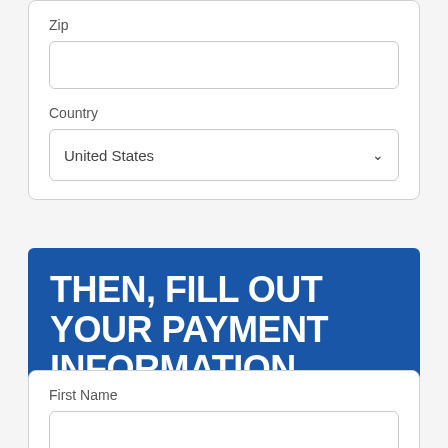Zip
Country
United States
THEN, FILL OUT YOUR PAYMENT INFORMATION
First Name